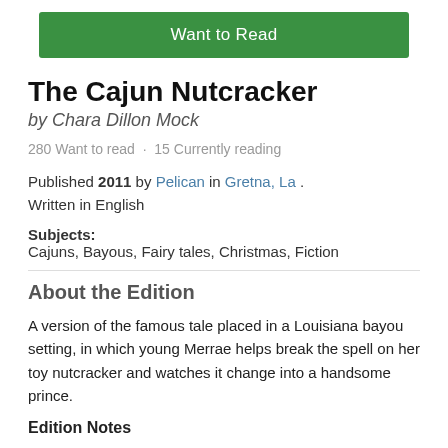[Figure (other): Green 'Want to Read' button]
The Cajun Nutcracker
by Chara Dillon Mock
280 Want to read  ·  15 Currently reading
Published 2011 by Pelican in Gretna, La . Written in English
Subjects: Cajuns, Bayous, Fairy tales, Christmas, Fiction
About the Edition
A version of the famous tale placed in a Louisiana bayou setting, in which young Merrae helps break the spell on her toy nutcracker and watches it change into a handsome prince.
Edition Notes
|  |  |
| --- | --- |
| Statement | by Chara Dillon Mock ; illustrated by Jean Cassels |
|  | Cassels, Jean, ill. Hoffmann, E. T. A. (Ernst |